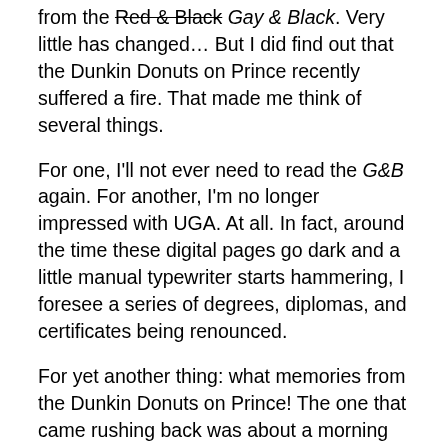from the Red & Black Gay & Black. Very little has changed… But I did find out that the Dunkin Donuts on Prince recently suffered a fire. That made me think of several things.
For one, I'll not ever need to read the G&B again. For another, I'm no longer impressed with UGA. At all. In fact, around the time these digital pages go dark and a little manual typewriter starts hammering, I foresee a series of degrees, diplomas, and certificates being renounced.
For yet another thing: what memories from the Dunkin Donuts on Prince! The one that came rushing back was about a morning some years ago. We'll say it was 1979. This was, by the way, before Fred the Baker started rising before dawn to "make the donuts." While en route to the mountains, an old class-C RV pulled into the Dunkin lot